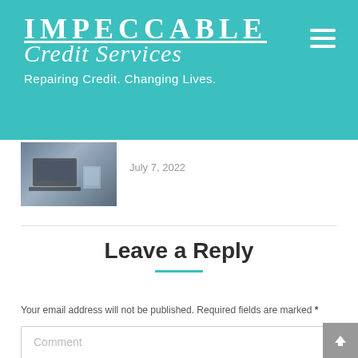IMPECCABLE Credit Services — Repairing Credit. Changing Lives.
[Figure (photo): Thumbnail image of a laptop on a desk with a glass of water]
July 7, 2022
Leave a Reply
Your email address will not be published. Required fields are marked *
Comment